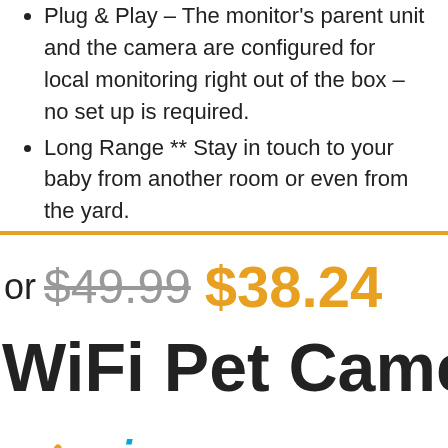Plug & Play – The monitor's parent unit and the camera are configured for local monitoring right out of the box – no set up is required.
Long Range ** Stay in touch to your baby from another room or even from the yard.
or $49.99 $38.24
WiFi Pet Camera In
[Figure (logo): Amazon Prime logo with orange checkmark and 'prime' text in blue]